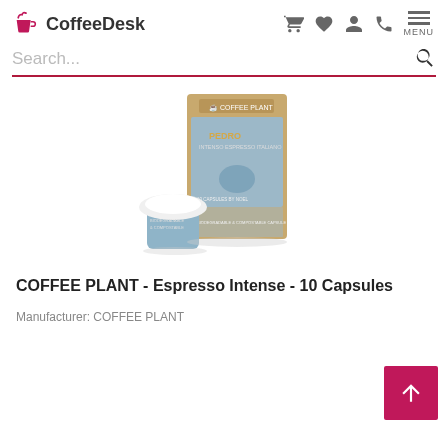CoffeeDesk
Search...
[Figure (photo): Product photo: A kraft paper box with a blue/grey label for Coffee Plant Espresso Intense capsules, with two espresso capsules in front (white lid, blue base with text 'BIODEGRADABLE & COMPOSTABLE').]
COFFEE PLANT - Espresso Intense - 10 Capsules
Manufacturer: COFFEE PLANT